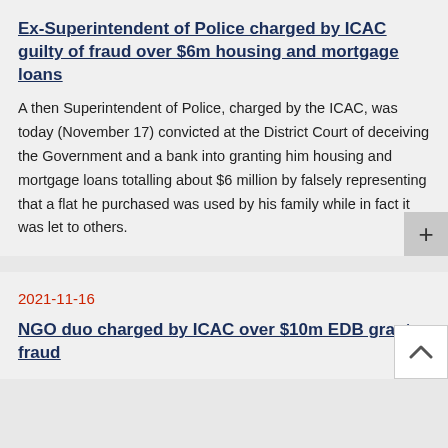Ex-Superintendent of Police charged by ICAC guilty of fraud over $6m housing and mortgage loans
A then Superintendent of Police, charged by the ICAC, was today (November 17) convicted at the District Court of deceiving the Government and a bank into granting him housing and mortgage loans totalling about $6 million by falsely representing that a flat he purchased was used by his family while in fact it was let to others.
2021-11-16
NGO duo charged by ICAC over $10m EDB grant fraud